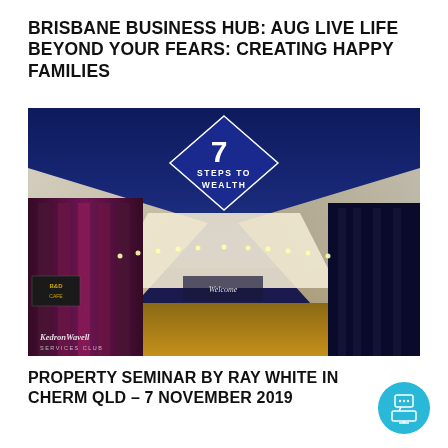BRISBANE BUSINESS HUB: AUG LIVE LIFE BEYOND YOUR FEARS: CREATING HAPPY FAMILIES
[Figure (photo): Night-time photograph of Kedron-Wavell Services Club venue with illuminated canopy/tent structure, purple-lit building on left, glowing lights along canopy edge. Logo '7 STEPS TO WEALTH' overlaid in top center on dark blue diamond shape.]
PROPERTY SEMINAR BY RAY WHITE IN CHERM QLD – 7 NOVEMBER 2019